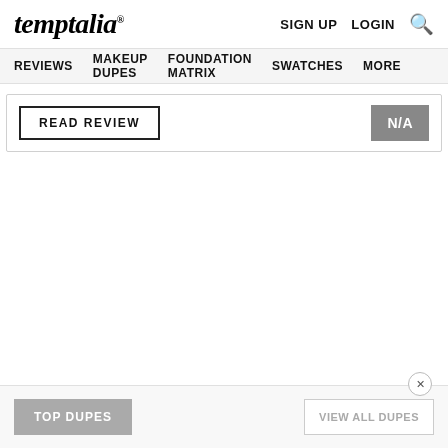temptalia® — SIGN UP  LOGIN  🔍
REVIEWS  MAKEUP DUPES  FOUNDATION MATRIX  SWATCHES  MORE
READ REVIEW
N/A
TOP DUPES
VIEW ALL DUPES